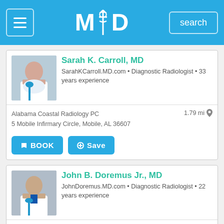MD — Medical Directory Header with menu, logo, and search
Sarah K. Carroll, MD
SarahKCarroll.MD.com • Diagnostic Radiologist • 33 years experience
Alabama Coastal Radiology PC
5 Mobile Infirmary Circle, Mobile, AL 36607
1.79 mi
BOOK  Save
John B. Doremus Jr., MD
JohnDoremus.MD.com • Diagnostic Radiologist • 22 years experience
Alabama Coastal Radiology PC
5 Mobile Infirmary Circle, Mobile, AL 36607
1.79 mi